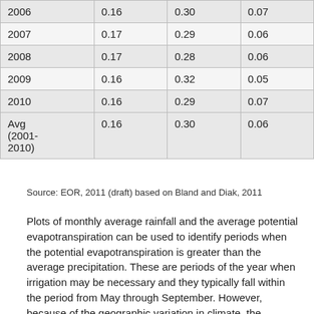| 2006 | 0.16 | 0.30 | 0.07 |
| 2007 | 0.17 | 0.29 | 0.06 |
| 2008 | 0.17 | 0.28 | 0.06 |
| 2009 | 0.16 | 0.32 | 0.05 |
| 2010 | 0.16 | 0.29 | 0.07 |
| Avg (2001-2010) | 0.16 | 0.30 | 0.06 |
Source: EOR, 2011 (draft) based on Bland and Diak, 2011
Plots of monthly average rainfall and the average potential evapotranspiration can be used to identify periods when the potential evapotranspiration is greater than the average precipitation. These are periods of the year when irrigation may be necessary and they typically fall within the period from May through September. However, because of the geographic variation in climate, the expected irrigation periods vary across the state (UMN Extension, 2009).